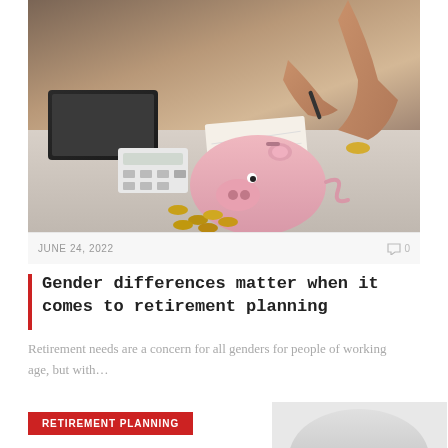[Figure (photo): A person inserting a coin into a pink ceramic piggy bank on a desk with a calculator, laptop, notepad, and scattered coins in the background]
JUNE 24, 2022
0
Gender differences matter when it comes to retirement planning
Retirement needs are a concern for all genders for people of working age, but with...
RETIREMENT PLANNING
[Figure (photo): Partial view of a piggy bank or savings-related object at the bottom of the page]